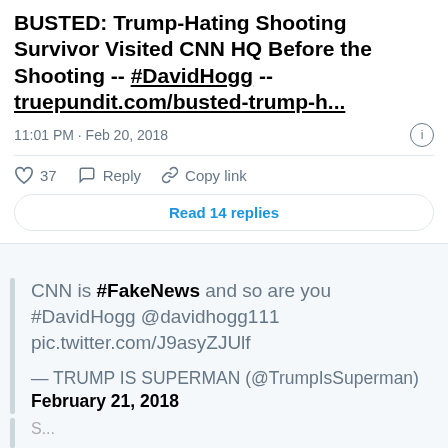English
BUSTED: Trump-Hating Shooting Survivor Visited CNN HQ Before the Shooting -- #DavidHogg -- truepundit.com/busted-trump-h...
11:01 PM · Feb 20, 2018
♡ 37  Reply  Copy link
Read 14 replies
CNN is #FakeNews and so are you #DavidHogg @davidhogg111 pic.twitter.com/J9asyZJUlf — TRUMP IS SUPERMAN (@TrumpIsSuperman) February 21, 2018
S...